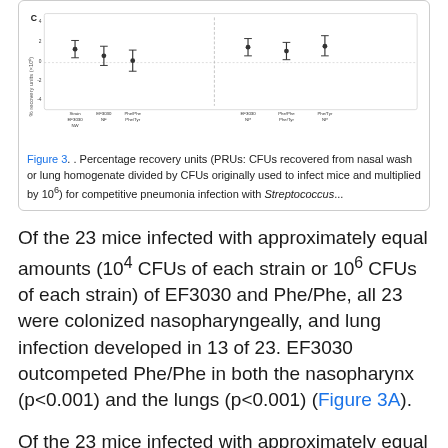[Figure (continuous-plot): Panel C of Figure 3: dot plots with error bars showing percentage recovery units (PRUs) for competitive pneumonia infection with Streptococcus strains EF3030 and Phe/Phe and Phe/Tyr across nasal wash and lung homogenate conditions at different inoculation amounts.]
Figure 3. . Percentage recovery units (PRUs: CFUs recovered from nasal wash or lung homogenate divided by CFUs originally used to infect mice and multiplied by 10⁶) for competitive pneumonia infection with Streptococcus...
Of the 23 mice infected with approximately equal amounts (10⁴ CFUs of each strain or 10⁶ CFUs of each strain) of EF3030 and Phe/Phe, all 23 were colonized nasopharyngeally, and lung infection developed in 13 of 23. EF3030 outcompeted Phe/Phe in both the nasopharynx (p<0.001) and the lungs (p<0.001) (Figure 3A).
Of the 23 mice infected with approximately equal amounts (10⁴ CFUs or 10⁶ CFUs of each) of EF3030 and Phe/Tyr, all 23 were colonized nasopharyngeally